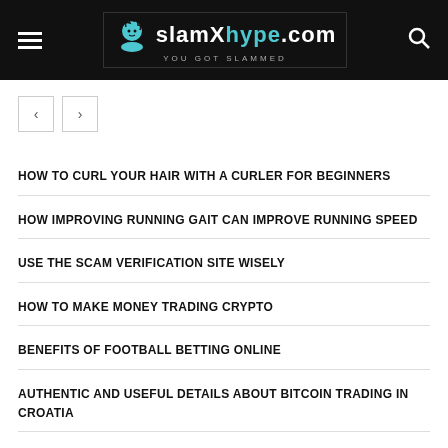slamXhype.com — YOU GOT SLAMMED
HOW TO CURL YOUR HAIR WITH A CURLER FOR BEGINNERS
HOW IMPROVING RUNNING GAIT CAN IMPROVE RUNNING SPEED
USE THE SCAM VERIFICATION SITE WISELY
HOW TO MAKE MONEY TRADING CRYPTO
BENEFITS OF FOOTBALL BETTING ONLINE
AUTHENTIC AND USEFUL DETAILS ABOUT BITCOIN TRADING IN CROATIA
THE CRAZE OF BITCOIN IN 2022!